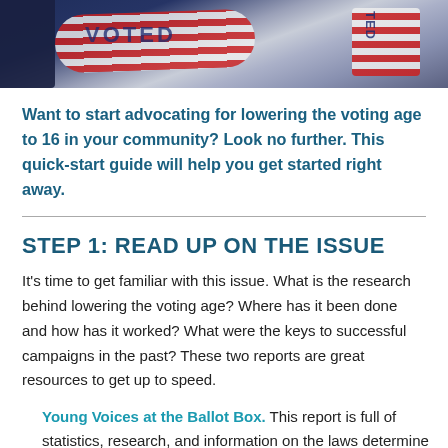[Figure (photo): Close-up photo of 'I Voted' stickers with American flag design in red, white and blue colors]
Want to start advocating for lowering the voting age to 16 in your community? Look no further. This quick-start guide will help you get started right away.
STEP 1: READ UP ON THE ISSUE
It's time to get familiar with this issue. What is the research behind lowering the voting age? Where has it been done and how has it worked? What were the keys to successful campaigns in the past? These two reports are great resources to get up to speed.
Young Voices at the Ballot Box. This report is full of statistics, research, and information on the laws determine what your city has to do to lower its local